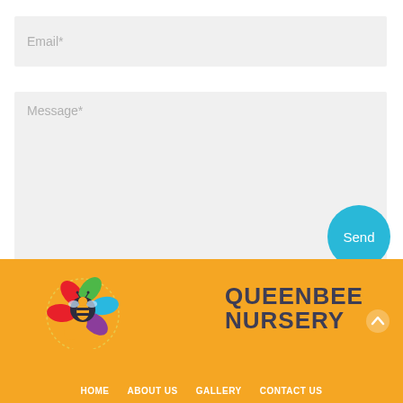Email*
Message*
Send
[Figure (logo): QueenBee Nursery logo with colorful flower and bee on orange background]
HOME   ABOUT US   GALLERY   CONTACT US